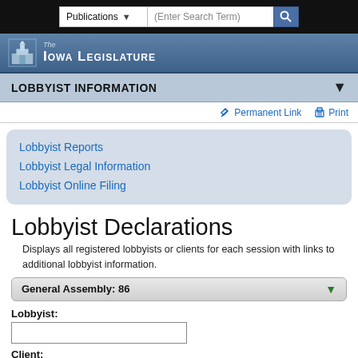Publications | (Enter Search Term) | Search
The Iowa Legislature
LOBBYIST INFORMATION
Permanent Link  Print
Lobbyist Reports
Lobbyist Legal Information
Lobbyist Online Filing
Lobbyist Declarations
Displays all registered lobbyists or clients for each session with links to additional lobbyist information.
General Assembly: 86
Lobbyist:
Client: